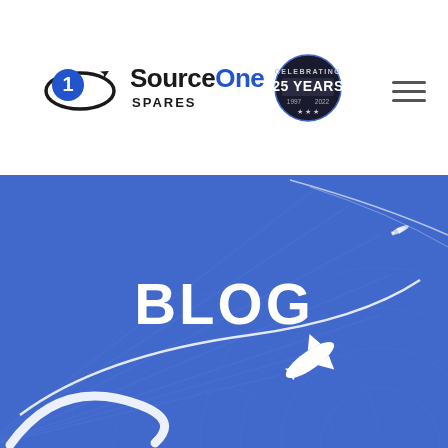[Figure (logo): 1 Source One Spares logo with airplane icon and 25 Years celebrating badge]
[Figure (illustration): Blue banner section with BLOG title text, airplane graphic with swoosh trail, decorative circular patterns in background]